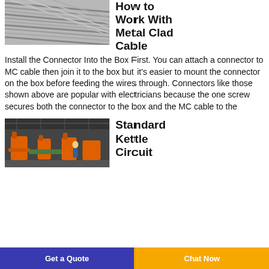[Figure (photo): Close-up photo of bundled metal clad cable wires, gray/silver strands]
How to Work With Metal Clad Cable
Install the Connector Into the Box First. You can attach a connector to MC cable then join it to the box but it's easier to mount the connector on the box before feeding the wires through. Connectors like those shown above are popular with electricians because the one screw secures both the connector to the box and the MC cable to the
[Figure (photo): Photo of industrial factory floor with orange machinery equipment]
Standard Kettle Circuit
Get a Quote
Chat Now